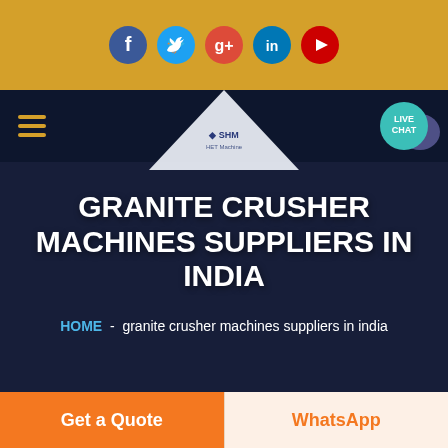[Figure (screenshot): Golden top bar with 5 social media icons: Facebook (blue), Twitter (light blue), Google+ (red), LinkedIn (dark blue), YouTube (red), all circular]
[Figure (screenshot): Website navigation bar with hamburger menu icon in gold, SHM logo centered in white triangle/cone shape, and teal Live Chat button with speech bubble on right]
GRANITE CRUSHER MACHINES SUPPLIERS IN INDIA
HOME  -  granite crusher machines suppliers in india
[Figure (photo): Partial view of machinery/engineering image at bottom of hero section]
Get a Quote
WhatsApp